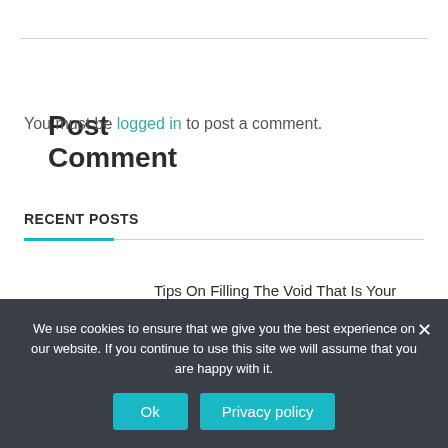Post Comment
You must be logged in to post a comment.
RECENT POSTS
Tips On Filling The Void That Is Your Mail Packaging
We use cookies to ensure that we give you the best experience on our website. If you continue to use this site we will assume that you are happy with it.